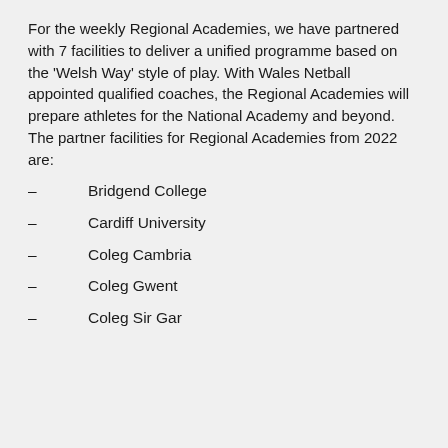For the weekly Regional Academies, we have partnered with 7 facilities to deliver a unified programme based on the 'Welsh Way' style of play. With Wales Netball appointed qualified coaches, the Regional Academies will prepare athletes for the National Academy and beyond. The partner facilities for Regional Academies from 2022 are:
Bridgend College
Cardiff University
Coleg Cambria
Coleg Gwent
Coleg Sir Gar